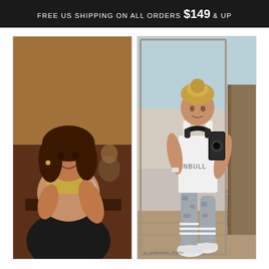FREE US SHIPPING ON All ORDERS $149 & UP
[Figure (photo): Before and after weight loss transformation photos side by side. Left photo shows a plus-size woman at a restaurant eating. Right photo shows the same woman after weight loss, taking a mirror selfie at a gym wearing a white NBULL tank top and gray camo leggings, with headphones around her neck. Instagram handle @_shrinking_steph visible on the right image.]